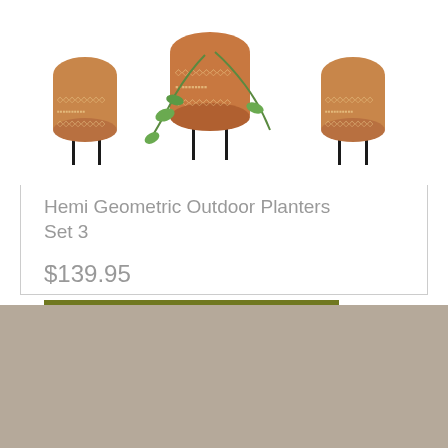[Figure (photo): Photo of Hemi Geometric Outdoor Planters Set 3 — three terracotta-style planters with geometric white patterns on black metal stands, with green trailing plants]
Hemi Geometric Outdoor Planters Set 3
$139.95
ADD TO CART ›
Earth de Fleur Homewares is a Specialty Online Retailer of Homewares and Garden Decor. We were established in 2008 and offer a unique range of home decor including furniture, wall art including canvas prints, paintings, framed